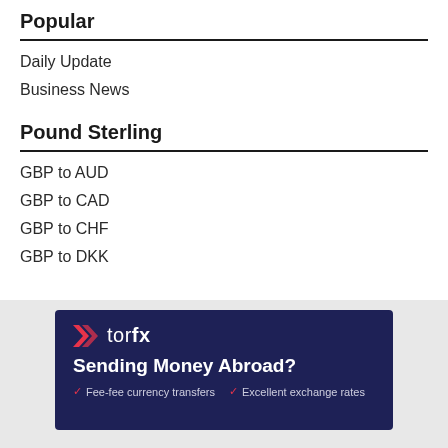Popular
Daily Update
Business News
Pound Sterling
GBP to AUD
GBP to CAD
GBP to CHF
GBP to DKK
[Figure (infographic): TorFX advertisement banner with dark navy background. Shows TorFX logo, headline 'Sending Money Abroad?' and two feature points: 'Fee-fee currency transfers' and 'Excellent exchange rates'.]